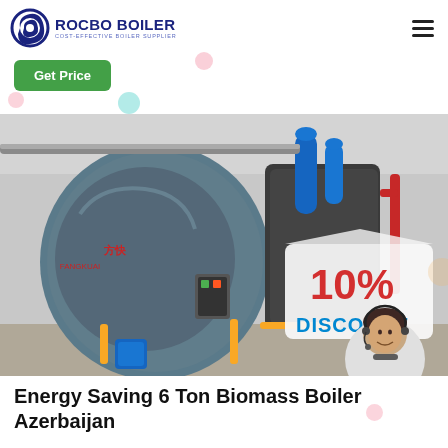[Figure (logo): Rocbo Boiler logo with circular C icon and text ROCBO BOILER / COST-EFFECTIVE BOILER SUPPLIER]
[Figure (other): Hamburger/menu icon (three horizontal lines)]
Get Price
[Figure (photo): Industrial boiler room showing a large cylindrical blue-grey boiler with Chinese text markings, piping, and a 10% DISCOUNT promotional overlay with a customer service representative image]
Energy Saving 6 Ton Biomass Boiler Azerbaijan